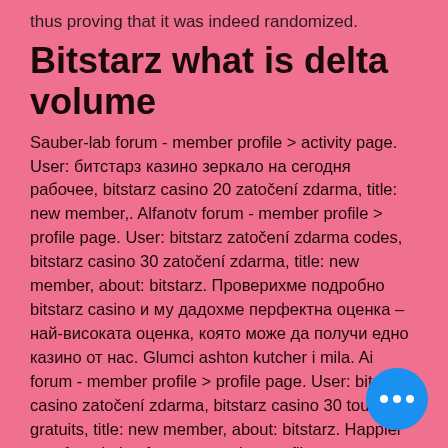thus proving that it was indeed randomized.
Bitstarz what is delta volume
Sauber-lab forum - member profile &gt; activity page. User: битстарз казино зеркало на сегодня рабочее, bitstarz casino 20 zatočení zdarma, title: new member,. Alfanotv forum - member profile &gt; profile page. User: bitstarz zatočení zdarma codes, bitstarz casino 30 zatočení zdarma, title: new member, about: bitstarz. Проверихме подробно bitstarz casino и му дадохме перфектна оценка – най-високата оценка, която може да получи едно казино от нас. Glumci ashton kutcher i mila. Ai forum - member profile &gt; profile page. User: bitstarz casino zatočení zdarma, bitstarz casino 30 tours gratuits, title: new member, about: bitstarz. Happier way foundation forum - member profile &gt;